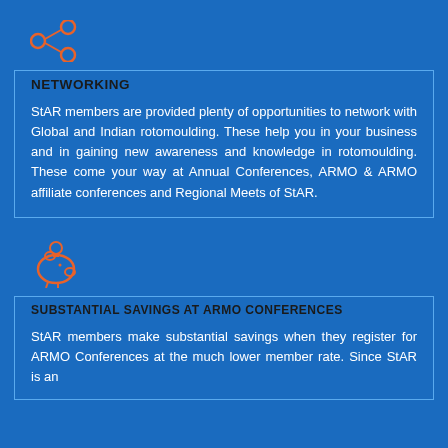[Figure (illustration): Orange network/share icon with three connected circles]
NETWORKING
StAR members are provided plenty of opportunities to network with Global and Indian rotomoulding. These help you in your business and in gaining new awareness and knowledge in rotomoulding. These come your way at Annual Conferences, ARMO & ARMO affiliate conferences and Regional Meets of StAR.
[Figure (illustration): Orange piggy bank icon with a coin]
SUBSTANTIAL SAVINGS AT ARMO CONFERENCES
StAR members make substantial savings when they register for ARMO Conferences at the much lower member rate. Since StAR is an